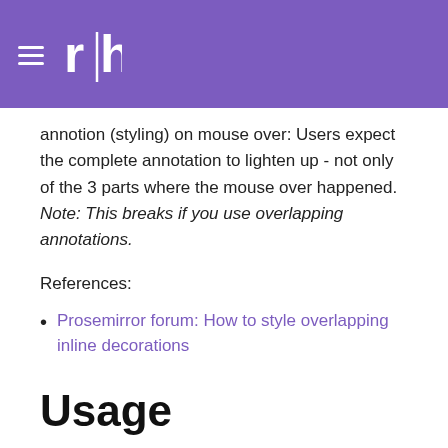rh logo and navigation
annotion (styling) on mouse over: Users expect the complete annotation to lighten up - not only of the 3 parts where the mouse over happened. Note: This breaks if you use overlapping annotations.
References:
Prosemirror forum: How to style overlapping inline decorations
Usage
Installation